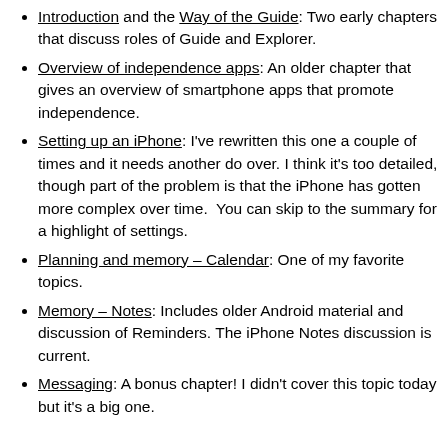Introduction and the Way of the Guide: Two early chapters that discuss roles of Guide and Explorer.
Overview of independence apps: An older chapter that gives an overview of smartphone apps that promote independence.
Setting up an iPhone: I've rewritten this one a couple of times and it needs another do over. I think it's too detailed, though part of the problem is that the iPhone has gotten more complex over time.  You can skip to the summary for a highlight of settings.
Planning and memory – Calendar: One of my favorite topics.
Memory – Notes: Includes older Android material and discussion of Reminders. The iPhone Notes discussion is current.
Messaging: A bonus chapter! I didn't cover this topic today but it's a big one.